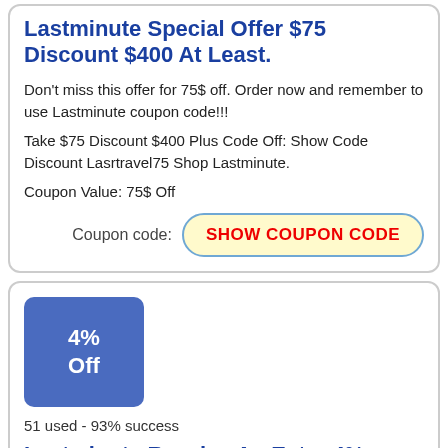Lastminute Special Offer $75 Discount $400 At Least.
Don't miss this offer for 75$ off. Order now and remember to use Lastminute coupon code!!!
Take $75 Discount $400 Plus Code Off: Show Code Discount Lasrtravel75 Shop Lastminute.
Coupon Value: 75$ Off
Coupon code: SHOW COUPON CODE
[Figure (other): Blue badge showing 4% Off discount]
51 used - 93% success
Lastminute Receive An Extra 4% Discount On Holiday Bookings.